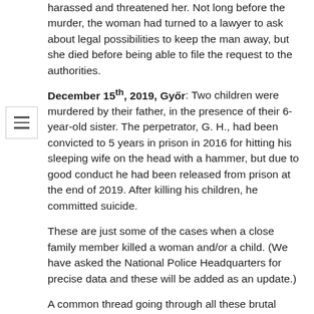harassed and threatened her. Not long before the murder, the woman had turned to a lawyer to ask about legal possibilities to keep the man away, but she died before being able to file the request to the authorities.
December 15th, 2019, Győr: Two children were murdered by their father, in the presence of their 6-year-old sister. The perpetrator, G. H., had been convicted to 5 years in prison in 2016 for hitting his sleeping wife on the head with a hammer, but due to good conduct he had been released from prison at the end of 2019. After killing his children, he committed suicide.
These are just some of the cases when a close family member killed a woman and/or a child. (We have asked the National Police Headquarters for precise data and these will be added as an update.)
A common thread going through all these brutal cases